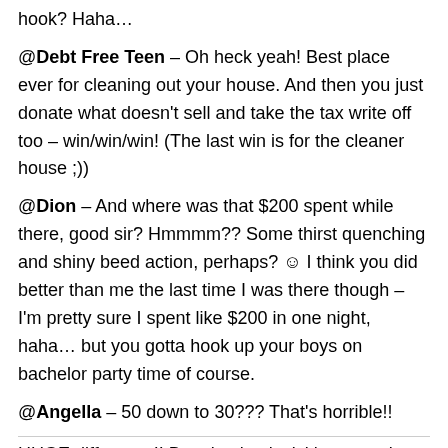hook? Haha…
@Debt Free Teen - Oh heck yeah! Best place ever for cleaning out your house. And then you just donate what doesn't sell and take the tax write off too – win/win/win! (The last win is for the cleaner house ;))
@Dion – And where was that $200 spent while there, good sir? Hmmmm?? Some thirst quenching and shiny beed action, perhaps? ☺ I think you did better than me the last time I was there though – I'm pretty sure I spent like $200 in one night, haha… but you gotta hook up your boys on bachelor party time of course.
@Angella – 50 down to 30??? That's horrible!! HUGE difference!! But absolutely love a good…